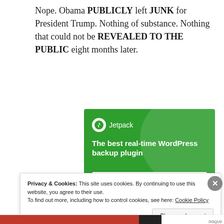Nope. Obama PUBLICLY left JUNK for President Trump. Nothing of substance. Nothing that could not be REVEALED TO THE PUBLIC eight months later.
[Figure (screenshot): Jetpack advertisement: green background with Jetpack logo and text 'The best real-time WordPress backup plugin' with a 'Back up your site' button]
Privacy & Cookies: This site uses cookies. By continuing to use this website, you agree to their use.
To find out more, including how to control cookies, see here: Cookie Policy
Close and accept